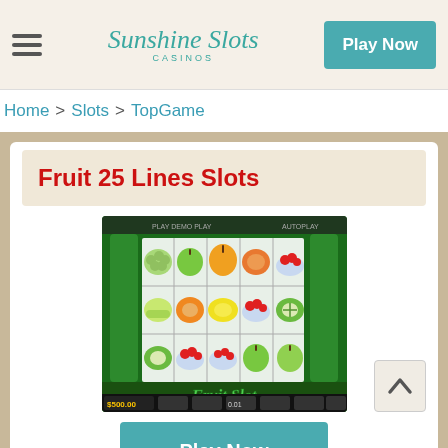Sunshine Slots Casinos — Play Now
Home > Slots > TopGame
Fruit 25 Lines Slots
[Figure (screenshot): Fruit 25 Lines Slots game screenshot showing a green-themed 5-reel slot machine with fruit symbols including grapes, apples, oranges, strawberries, kiwi, and mixed fruit bowls. The game interface shows a balance of $500.00 at the bottom.]
Play Now